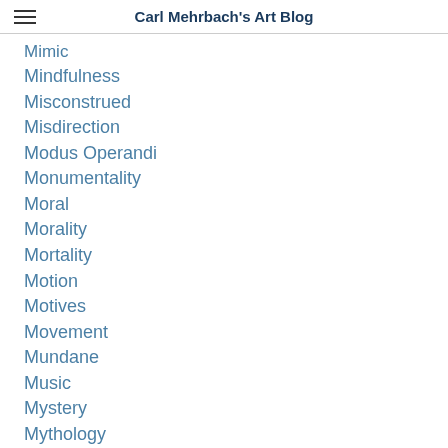Carl Mehrbach's Art Blog
Mimic
Mindfulness
Misconstrued
Misdirection
Modus Operandi
Monumentality
Moral
Morality
Mortality
Motion
Motives
Movement
Mundane
Music
Mystery
Mythology
Naiveté
Narrative